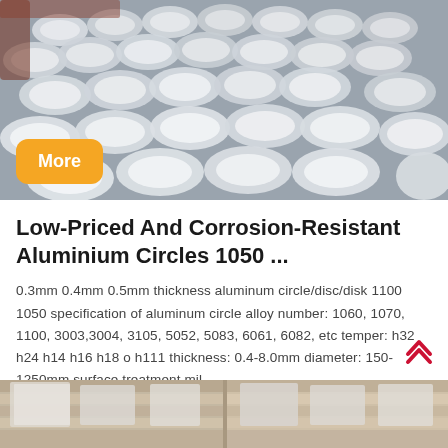[Figure (photo): Overhead view of many aluminium discs/circles stacked and spread across a surface in a factory or warehouse setting. An orange 'More' badge is overlaid in the lower-left of the image.]
Low-Priced And Corrosion-Resistant Aluminium Circles 1050 ...
0.3mm 0.4mm 0.5mm thickness aluminum circle/disc/disk 1100 1050 specification of aluminum circle alloy number: 1060, 1070, 1100, 3003,3004, 3105, 5052, 5083, 6061, 6082, etc temper: h32 h24 h14 h16 h18 o h111 thickness: 0.4-8.0mm diameter: 150-1250mm surface treatment mil...
[Figure (photo): Partial view of wooden pallets or crates with metal sheets or boards stacked on them, visible at bottom of page.]